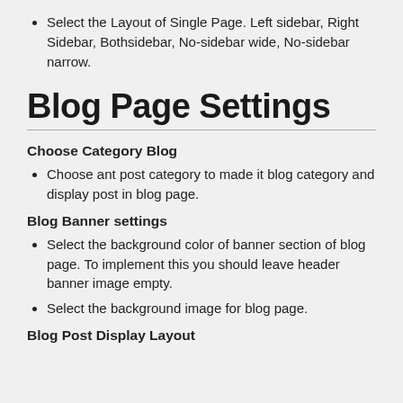Select the Layout of Single Page. Left sidebar, Right Sidebar, Bothsidebar, No-sidebar wide, No-sidebar narrow.
Blog Page Settings
Choose Category Blog
Choose ant post category to made it blog category and display post in blog page.
Blog Banner settings
Select the background color of banner section of blog page. To implement this you should leave header banner image empty.
Select the background image for blog page.
Blog Post Display Layout